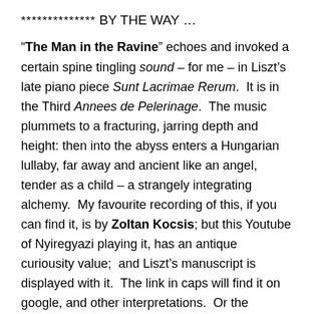**************
BY THE WAY …
“The Man in the Ravine” echoes and invoked a certain spine tingling sound – for me – in Liszt’s late piano piece Sunt Lacrimae Rerum.  It is in the Third Annees de Pelerinage.  The music plummets to a fracturing, jarring depth and height: then into the abyss enters a Hungarian lullaby, far away and ancient like an angel, tender as a child – a strangely integrating  alchemy.  My favourite recording of this, if you can find it, is by Zoltan Kocsis; but this Youtube of Nyiregyazi playing it, has an antique curiousity value;  and Liszt’s manuscript is displayed with it.  The link in caps will find it on google, and other interpretations.  Or the weblink, pasted onto your address bar, opens the video: